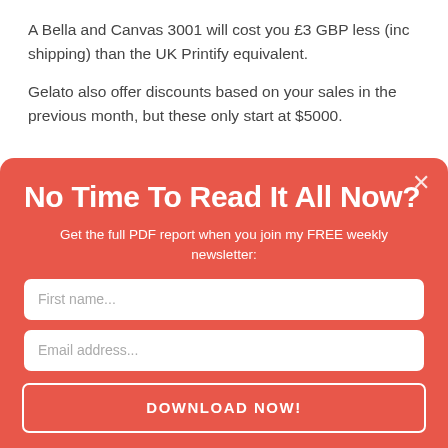A Bella and Canvas 3001 will cost you £3 GBP less (inc shipping) than the UK Printify equivalent.
Gelato also offer discounts based on your sales in the previous month, but these only start at $5000.
No Time To Read It All Now?
Get the full PDF report when you join my FREE weekly newsletter:
First name...
Email address...
DOWNLOAD NOW!